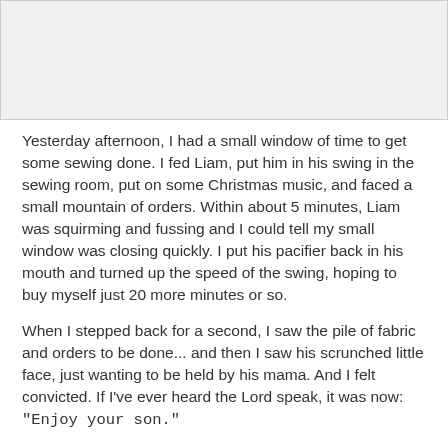[Figure (photo): Photo placeholder at top of page, light gray background]
Yesterday afternoon, I had a small window of time to get some sewing done. I fed Liam, put him in his swing in the sewing room, put on some Christmas music, and faced a small mountain of orders. Within about 5 minutes, Liam was squirming and fussing and I could tell my small window was closing quickly. I put his pacifier back in his mouth and turned up the speed of the swing, hoping to buy myself just 20 more minutes or so.
When I stepped back for a second, I saw the pile of fabric and orders to be done... and then I saw his scrunched little face, just wanting to be held by his mama. And I felt convicted. If I've ever heard the Lord speak, it was now: "Enjoy your son."
I felt His prompting so clearly that I couldn't do anything else but put down my scissors, turn off the iron, and pick up my baby. We headed to his nursery with a book that his daddy and he have a little... We read for a while